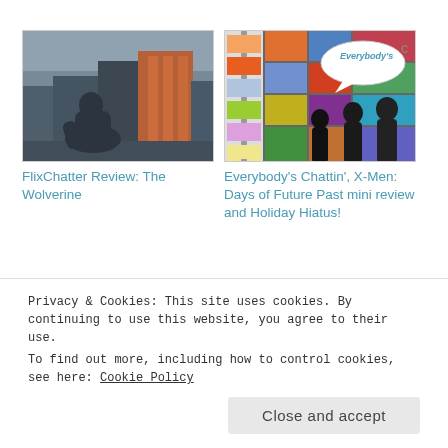[Figure (photo): Movie still from The Wolverine showing a crouching figure silhouette against a cityscape with orange building signs]
FlixChatter Review: The Wolverine
[Figure (photo): People standing in front of large video wall screens with a speech bubble saying Everybody's]
Everybody's Chattin', X-Men: Days of Future Past mini review and Holiday Hiatus!
[Figure (photo): Man's face, headshot photo]
Privacy & Cookies: This site uses cookies. By continuing to use this website, you agree to their use.
To find out more, including how to control cookies, see here: Cookie Policy